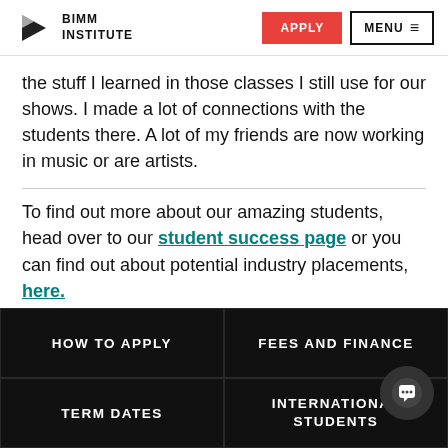BIMM INSTITUTE | APPLY | MENU
the stuff I learned in those classes I still use for our shows. I made a lot of connections with the students there. A lot of my friends are now working in music or are artists.
To find out more about our amazing students, head over to our student success page or you can find out about potential industry placements, here.
HOW TO APPLY
FEES AND FINANCE
TERM DATES
INTERNATIONAL STUDENTS